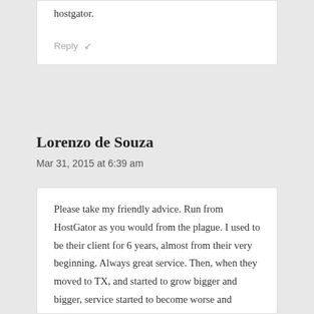hostgator.
Reply ↵
Lorenzo de Souza
Mar 31, 2015 at 6:39 am
Please take my friendly advice. Run from HostGator as you would from the plague. I used to be their client for 6 years, almost from their very beginning. Always great service. Then, when they moved to TX, and started to grow bigger and bigger, service started to become worse and worse. Then my hosting customers began to leave me